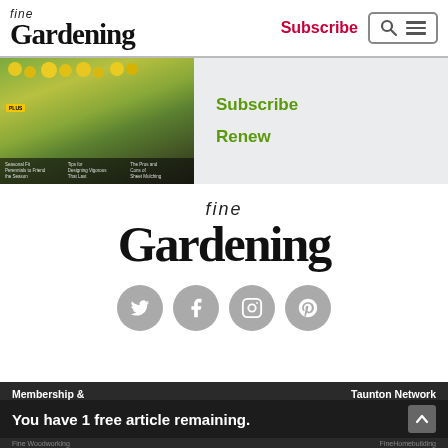fine Gardening
Subscribe
[Figure (photo): Fine Gardening magazine cover featuring yellow flowers and silvery ornamental grass with text overlays for articles]
Subscribe
Renew
[Figure (logo): Fine Gardening large logo with italic 'fine' above serif 'Gardening']
[Figure (infographic): Four gray circular social media icons: Twitter, Facebook, Instagram, Pinterest]
Membership & ... Taunton Network ...
You have 1 free article remaining.